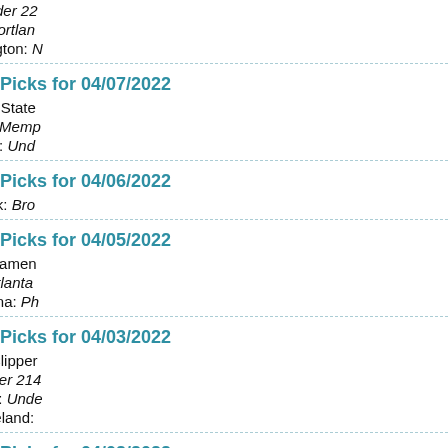Phoenix @ Utah: Under 22
Portland @ Dallas: Portland
New York @ Washington: N
Picks for 04/07/2022
LA Lakers @ Golden State
Memphis @ Denver: Memp
Boston @ Milwaukee: Und
Picks for 04/06/2022
Brooklyn @ New York: Bro
Picks for 04/05/2022
New Orleans @ Sacramen
Atlanta @ Toronto: Atlanta
Philadelphia @ Indiana: Ph
Picks for 04/03/2022
New Orleans @ LA Clipper
Miami @ Toronto: Over 214
New York @ Orlando: Unde
Philadelphia @ Cleveland:
Picks for 04/02/2022
Brooklyn @ Atlanta: Brookl
Charlotte @ Philadelphia: C